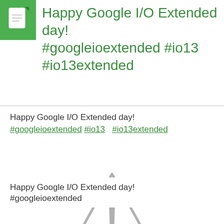Happy Google I/O Extended day! #googleioextended #io13 #io13extended
Happy Google I/O Extended day!
#googleioextended #io13  #io13extended
[Figure (illustration): Gray warning triangle icon with exclamation mark]
Happy Google I/O Extended day!
#googleioextended